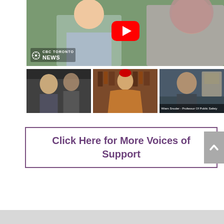[Figure (screenshot): Main large video thumbnail showing two people, a man and a woman wearing hijab, with YouTube play button overlay and CBC Toronto News logo in bottom left]
[Figure (screenshot): Three smaller video thumbnails: left shows two people in conversation, middle shows a man in traditional Moroccan robe, right shows a man identified as Professor of Public Safety]
Click Here for More Voices of Support